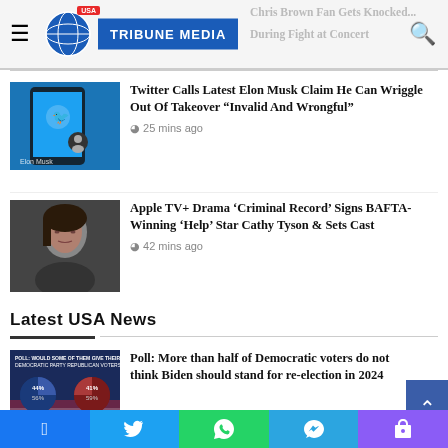USA Tribune Media
Chris Brown Fan Gets Knocked... During Fight at Concert
[Figure (photo): Twitter app screen showing Elon Musk profile]
Twitter Calls Latest Elon Musk Claim He Can Wriggle Out Of Takeover "Invalid And Wrongful"
25 mins ago
[Figure (photo): Portrait photo of a woman, Cathy Tyson]
Apple TV+ Drama ‘Criminal Record’ Signs BAFTA-Winning ‘Help’ Star Cathy Tyson & Sets Cast
42 mins ago
Latest USA News
[Figure (photo): Poll graphic showing pie charts for Democratic and Republican voters on whether Biden should stand for re-election]
Poll: More than half of Democratic voters do not think Biden should stand for re-election in 2024